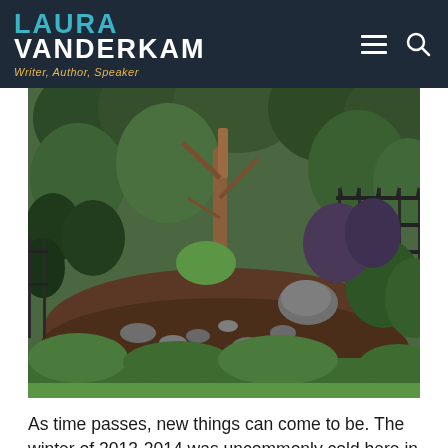LAURA VANDERKAM — Writer, Author, Speaker
[Figure (photo): Garden/backyard scene with lush green trees, shrubs, mulched beds, rocks along a path, and a wrought-iron fence on the right side.]
As time passes, new things can come to be. The winter of 2013-2014 was uncommonly cold here in Pennsylvania, with several days lingering